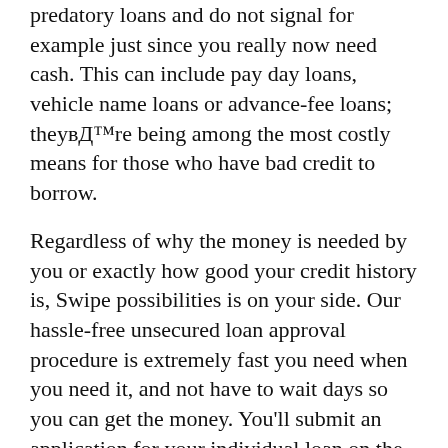predatory loans and do not signal for example just since you really now need cash. This can include pay day loans, vehicle name loans or advance-fee loans; theyвЂ™re being among the most costly means for those who have bad credit to borrow.
Regardless of why the money is needed by you or exactly how good your credit history is, Swipe possibilities is on your side. Our hassle-free unsecured loan approval procedure is extremely fast you need when you need it, and not have to wait days so you can get the money. You'll submit an application for your individual loan on the internet and get a remedy very quickly.
How to get a bad credit loan in Frankfort Kentucky?
If you have got a credit rating of 550, youвЂ™re just 30 points from a вЂњfairвЂќ credit score. It may add up to just take some right time enhancing your credit. It shall nevertheless be substandard, and youвЂ™re